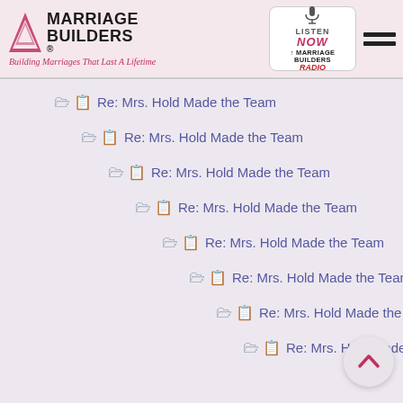Marriage Builders® — Building Marriages That Last A Lifetime | Listen Now Marriage Builders Radio
Re: Mrs. Hold Made the Team
Re: Mrs. Hold Made the Team
Re: Mrs. Hold Made the Team
Re: Mrs. Hold Made the Team
Re: Mrs. Hold Made the Team
Re: Mrs. Hold Made the Team
Re: Mrs. Hold Made the Team
Re: Mrs. Hold Made the Te…